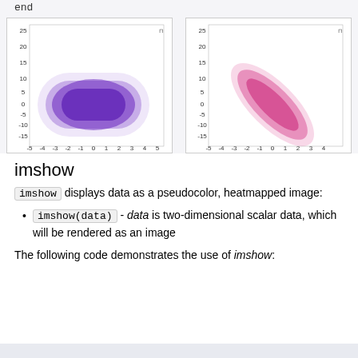[Figure (continuous-plot): Two scatter plots side by side. Left plot shows a circular/elliptical cloud of purple dots, axes from -5 to 5 (x) and -15 to 25 (y). Right plot shows a diagonal elliptical cloud of magenta/pink dots tilted at roughly 45 degrees, same axis ranges.]
imshow
imshow displays data as a pseudocolor, heatmapped image:
imshow(data) - data is two-dimensional scalar data, which will be rendered as an image
The following code demonstrates the use of imshow: